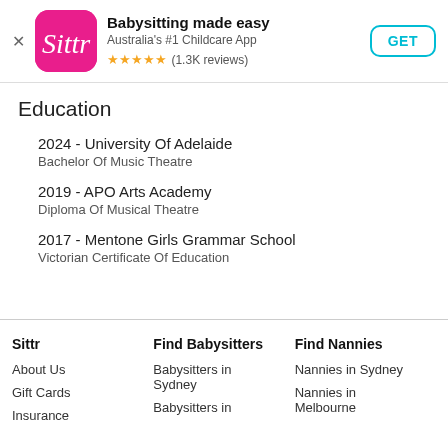[Figure (screenshot): App store banner for Sittr app showing pink logo with 'Sittr' text, app title 'Babysitting made easy', subtitle 'Australia's #1 Childcare App', 5 gold stars rating with (1.3K reviews), and a GET button]
Education
2024 - University Of Adelaide
Bachelor Of Music Theatre
2019 - APO Arts Academy
Diploma Of Musical Theatre
2017 - Mentone Girls Grammar School
Victorian Certificate Of Education
Sittr | Find Babysitters | Find Nannies — About Us, Gift Cards, Insurance | Babysitters in Sydney, Babysitters in ... | Nannies in Sydney, Nannies in Melbourne